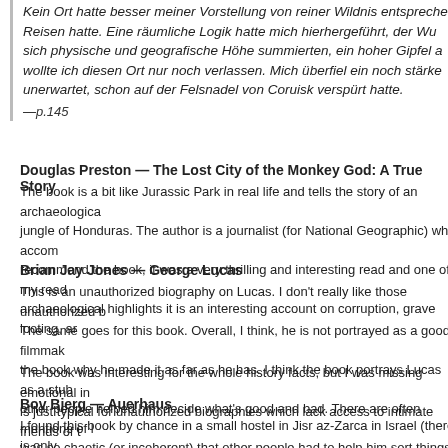Kein Ort hatte besser meiner Vorstellung von reiner Wildnis entspreche... Reisen hatte. Eine räumliche Logik hatte mich hierhergeführt, der Wu... sich physische und geografische Höhe summierten, ein hoher Gipfel a... wollte ich diesen Ort nur noch verlassen. Mich überfiel ein noch stärke... unerwartet, schon auf der Felsnadel von Coruisk verspürt hatte.
—p.145
Douglas Preston — The Lost City of the Monkey God: A True Story
The book is a bit like Jurassic Park in real life and tells the story of an archaeologica... jungle of Honduras. The author is a journalist (for National Geographic) who accom... recommend the book, it was a very thrilling and interesting read and one of my read... archaeological highlights it is an interesting account on corruption, grave looting, ar...
Brian Jay Jones — George Lucas
This is an unauthorized biography on Lucas. I don't really like those unauthorized b... The same goes for this book. Overall, I think, he is not portrayed as a good filmmak... the book why he made it as far as he has. I think the book portrays Lucas as a stub... other people helped him decide what's good and bad. There are often mentions of l... was so chaotic (or incoherent) that other people had to help him sort things out.
The book was interesting for the whole history facts, but I was missing emotional in... is just typical for unauthorized biographies which lack access to intimate friends of t...
Bov Bjerg — Auerhaus
I found this book by chance in a small hostel in Jisr az-Zarca in Israel (there is only...